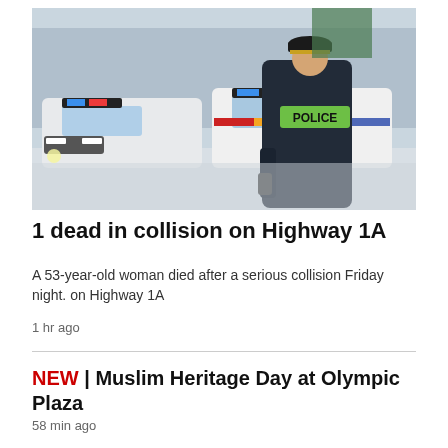[Figure (photo): A police officer in a dark uniform with a green 'POLICE' patch on the back stands facing away from the camera, with two police vehicles parked on a snowy road in the background.]
1 dead in collision on Highway 1A
A 53-year-old woman died after a serious collision Friday night. on Highway 1A
1 hr ago
NEW | Muslim Heritage Day at Olympic Plaza
58 min ago